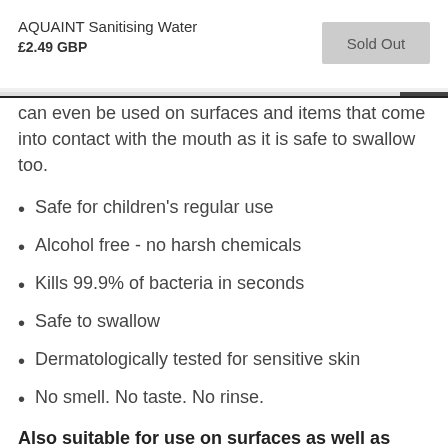AQUAINT Sanitising Water
£2.49 GBP
Sold Out
can even be used on surfaces and items that come into contact with the mouth as it is safe to swallow too.
Safe for children's regular use
Alcohol free - no harsh chemicals
Kills 99.9% of bacteria in seconds
Safe to swallow
Dermatologically tested for sensitive skin
No smell. No taste. No rinse.
Also suitable for use on surfaces as well as items